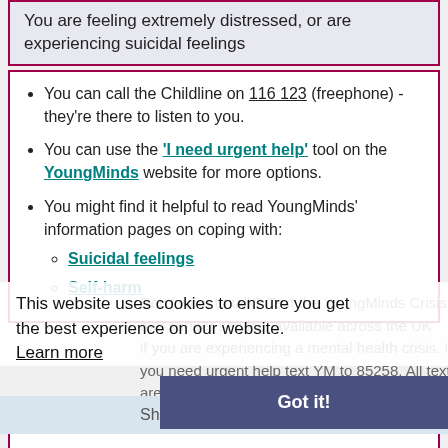You are feeling extremely distressed, or are experiencing suicidal feelings
You can call the Childline on 116 123 (freephone) - they're there to listen to you.
You can use the 'I need urgent help' tool on the YoungMinds website for more options.
You might find it helpful to read YoungMinds' information pages on coping with: Suicidal feelings, Self-harm
This website uses cookies to ensure you get the best experience on our website. Learn more
Don't want to talk? Text the YoungMinds Crisis ... if you are experiencing a mental health crisis. If you need urgent help text YM to 85258. All texts are answered by trained volunteers, with support from experienced clinical supervisors
Got it!
Show accessibility tools
You nee... not an